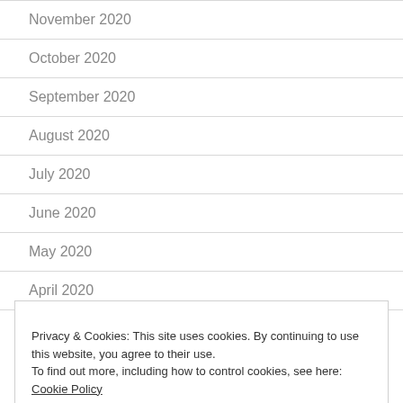November 2020
October 2020
September 2020
August 2020
July 2020
June 2020
May 2020
April 2020
Privacy & Cookies: This site uses cookies. By continuing to use this website, you agree to their use.
To find out more, including how to control cookies, see here: Cookie Policy
December 2019